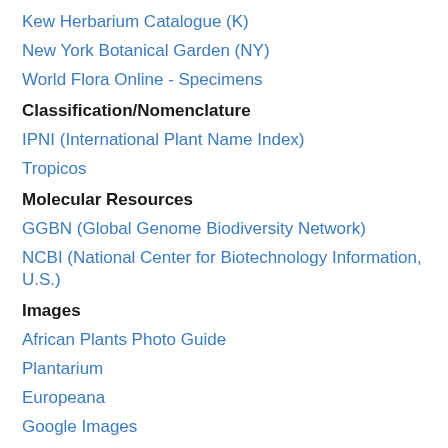Kew Herbarium Catalogue (K)
New York Botanical Garden (NY)
World Flora Online - Specimens
Classification/Nomenclature
IPNI (International Plant Name Index)
Tropicos
Molecular Resources
GGBN (Global Genome Biodiversity Network)
NCBI (National Center for Biotechnology Information, U.S.)
Images
African Plants Photo Guide
Plantarium
Europeana
Google Images
Literature
Google Scholar
PubMed